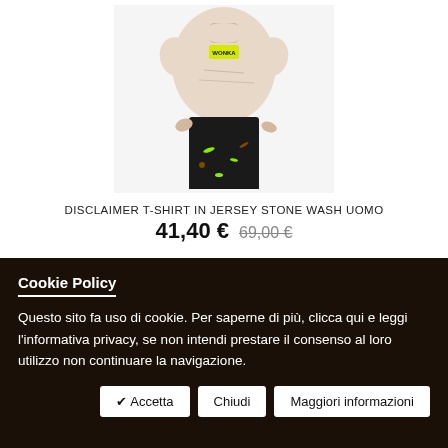[Figure (photo): Model wearing a beige/stone wash t-shirt with neon yellow label and black splattered pants]
DISCLAIMER T-SHIRT IN JERSEY STONE WASH UOMO
41,40 €  69,00 €
Cookie Policy
Questo sito fa uso di cookie. Per saperne di più, clicca qui e leggi l'informativa privacy, se non intendi prestare il consenso al loro utilizzo non continuare la navigazione.
✔ Accetta  Chiudi  Maggiori informazioni